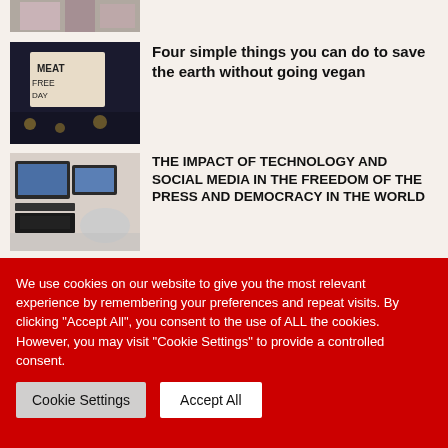[Figure (photo): Partial view of a photo at the top of the page (flowers/scene, cropped)]
[Figure (photo): Photo of a sign reading 'Meat Free Day' with candles]
Four simple things you can do to save the earth without going vegan
[Figure (photo): Photo of computer monitors and keyboard in an office/newsroom]
THE IMPACT OF TECHNOLOGY AND SOCIAL MEDIA IN THE FREEDOM OF THE PRESS AND DEMOCRACY IN THE WORLD
[Figure (photo): Photo of oranges/lemons]
Rural Kildare cafe impress all who visit
We use cookies on our website to give you the most relevant experience by remembering your preferences and repeat visits. By clicking "Accept All", you consent to the use of ALL the cookies. However, you may visit "Cookie Settings" to provide a controlled consent.
Cookie Settings
Accept All